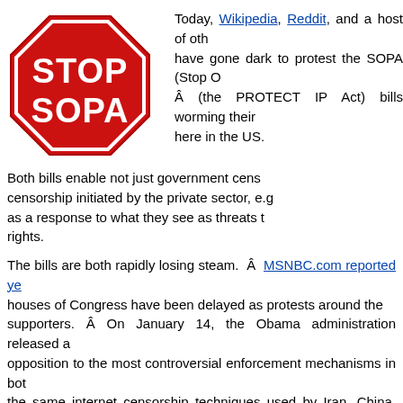[Figure (illustration): Red octagonal STOP sign styled logo with white text reading STOP SOPA]
Today, Wikipedia, Reddit, and a host of other sites have gone dark to protest the SOPA (Stop Online Piracy Act) Â (the PROTECT IP Act) bills worming their way through here in the US.
Both bills enable not just government censorship, but censorship initiated by the private sector, e.g., as a response to what they see as threats to their rights.
The bills are both rapidly losing steam.  Â  MSNBC.com reported yesterday that votes in both houses of Congress have been delayed as protests around the bills mount and erode supporters.  Â On January 14, the Obama administration released a statement expressing opposition to the most controversial enforcement mechanisms in both bills, specifically the same internet censorship techniques used by Iran, China, and Syria.
“We must avoid creating new cybersecurity risks or di... architecture of the Internet. Proposed laws must not ta... architecture of the Internet through manipulation of the... (DNS), a foundation of Internet security. Our analysis of the... in some proposed legislation suggests that they pose a...